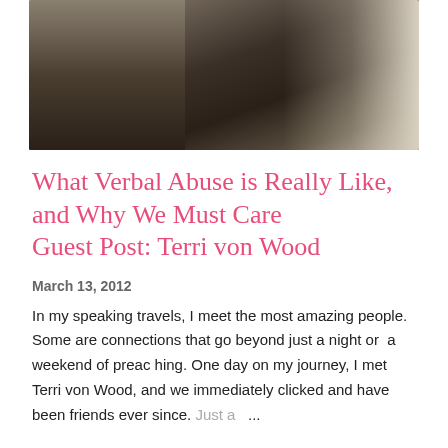[Figure (photo): Dark photo of people, partially visible, with window/light in background]
What Verbal Abuse is Really Like, and Why We Must Care
Guest Post: Terri von Wood
March 13, 2012
In my speaking travels, I meet the most amazing people. Some are connections that go beyond just a night or a weekend of preaching. One day on my journey, I met Terri von Wood, and we immediately clicked and have been friends ever since. Just a ...
SHARE   12 COMMENTS   READ MORE